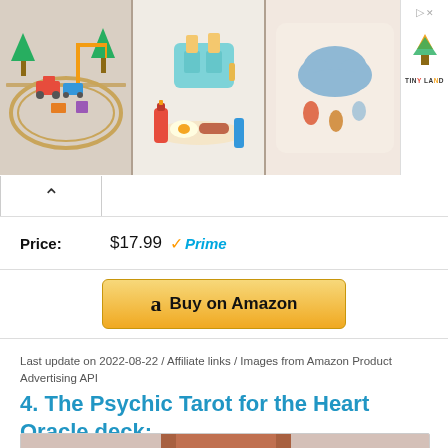[Figure (screenshot): Advertisement banner showing three toy product images (wooden train set, toy kitchen food, cloud pillow) and Tiny Land logo sidebar]
$17.99 ✓Prime
Buy on Amazon
Last update on 2022-08-22 / Affiliate links / Images from Amazon Product Advertising API
4. The Psychic Tarot for the Heart Oracle deck:
[Figure (photo): Partially visible tarot card deck image at bottom of page]